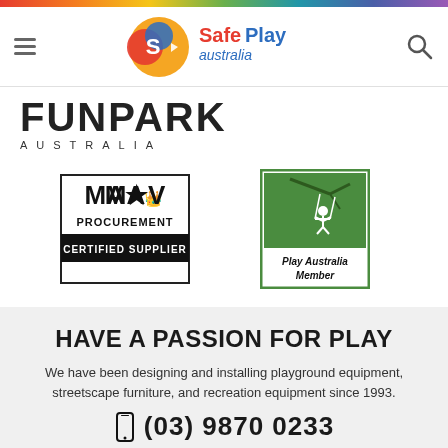[Figure (logo): SafePlay Australia logo in navigation bar with hamburger menu and search icon]
[Figure (logo): FunPark Australia partial logo text]
[Figure (logo): MAV Procurement Certified Supplier logo - black bordered box with crown emblem]
[Figure (logo): Play Australia Member logo - green bordered box with child on swing illustration]
HAVE A PASSION FOR PLAY
We have been designing and installing playground equipment, streetscape furniture, and recreation equipment since 1993.
(03) 9870 0233